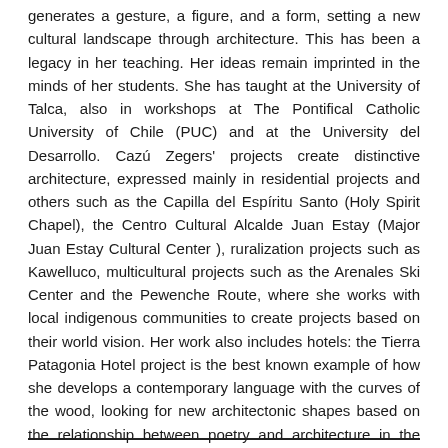generates a gesture, a figure, and a form, setting a new cultural landscape through architecture. This has been a legacy in her teaching. Her ideas remain imprinted in the minds of her students. She has taught at the University of Talca, also in workshops at The Pontifical Catholic University of Chile (PUC) and at the University del Desarrollo. Cazú Zegers' projects create distinctive architecture, expressed mainly in residential projects and others such as the Capilla del Espíritu Santo (Holy Spirit Chapel), the Centro Cultural Alcalde Juan Estay (Major Juan Estay Cultural Center ), ruralization projects such as Kawelluco, multicultural projects such as the Arenales Ski Center and the Pewenche Route, where she works with local indigenous communities to create projects based on their world vision. Her work also includes hotels: the Tierra Patagonia Hotel project is the best known example of how she develops a contemporary language with the curves of the wood, looking for new architectonic shapes based on the relationship between poetry and architecture in the South American territory.